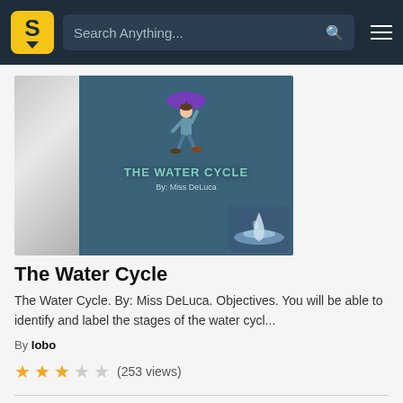Search Anything...
[Figure (illustration): Book cover thumbnail for 'The Water Cycle' by Miss DeLuca, showing a cartoon figure walking with an umbrella and a water droplet image.]
The Water Cycle
The Water Cycle. By: Miss DeLuca. Objectives. You will be able to identify and label the stages of the water cycl...
By lobo
★★★☆☆ (253 views)